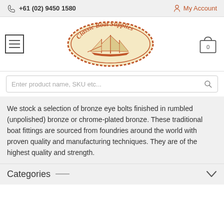+61 (02) 9450 1580 | My Account
[Figure (logo): Classic Boat Supplies oval logo with sailing ship illustration in orange/brown on cream background]
Enter product name, SKU etc...
We stock a selection of bronze eye bolts finished in rumbled (unpolished) bronze or chrome-plated bronze. These traditional boat fittings are sourced from foundries around the world with proven quality and manufacturing techniques. They are of the highest quality and strength.
Categories